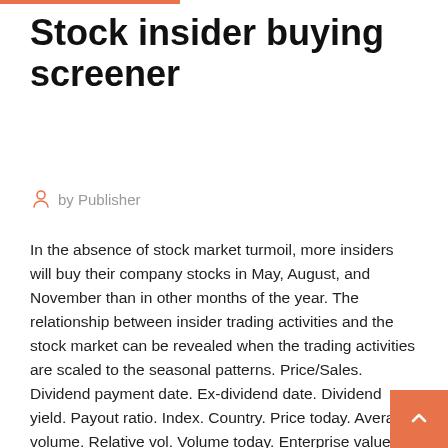Stock insider buying screener
by Publisher
In the absence of stock market turmoil, more insiders will buy their company stocks in May, August, and November than in other months of the year. The relationship between insider trading activities and the stock market can be revealed when the trading activities are scaled to the seasonal patterns. Price/Sales. Dividend payment date. Ex-dividend date. Dividend yield. Payout ratio. Index. Country. Price today. Average volume. Relative vol. Volume today. Enterprise value. IPO year. Employees. Insider ownership. Inst. ownership. See the Insider Trading and SAST transactions in All Stocks. The latest disclosure under SEBI Prohibition of Insider Trading regulations was made in Hubtown Ltd. where Screeners based on Insider Trading and SAST parameters. A comprehensive preferred stock screener stock from Preferred Stock Channel. S...